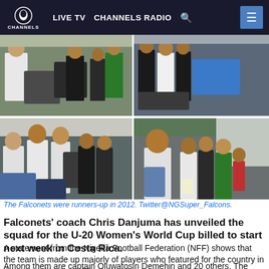LIVE TV  CHANNELS RADIO
[Figure (photo): Four-panel photo grid showing Nigeria Falconets women's football team at an airport, with players in team kit and luggage, taken from Twitter@NGSuper_Falcons]
The Falconets were runners-up in 2012. Twitter@NGSuper_Falcons.
Falconets' coach Chris Danjuma has unveiled the squad for the U-20 Women's World Cup billed to start next week in Costa Rica.
A statement from the Nigeria Football Federation (NFF) shows that the team is made up majorly of players who featured for the country in the competition's qualification series.
Among them are captain Oluwatosin Demehin and 20 others. The team for the Costa Rica tournament includes three goalkeepers, six